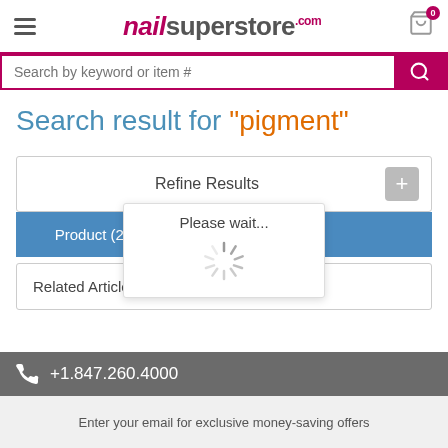nailsuperstore.com
Search by keyword or item #
Search result for "pigment"
Refine Results
Please wait...
Product (28)
Related Articles (8)
+1.847.260.4000
Enter your email for exclusive money-saving offers